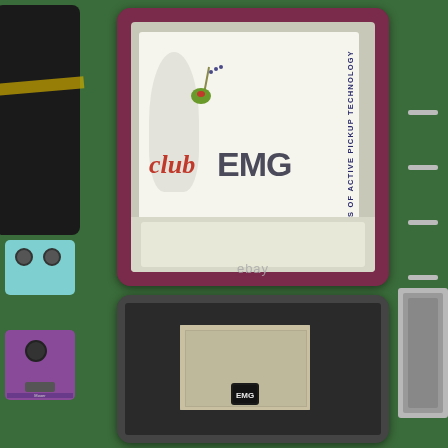[Figure (photo): Top photo: EMG Club EMG box open showing a card with 'club EMG' logo and text 'CELEBRATING 25 YEARS OF ACTIVE PICKUP TECHNOLOGY', displayed in a dark maroon-bordered box. eBay watermark visible.]
[Figure (photo): Bottom photo: Open box showing dark foam insert with a plastic-wrapped item (possibly a pickup or medallion) sitting in foam cutout.]